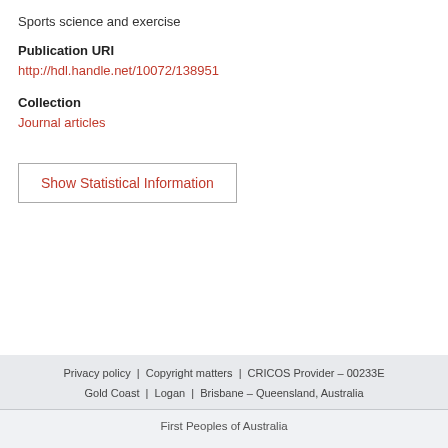Sports science and exercise
Publication URI
http://hdl.handle.net/10072/138951
Collection
Journal articles
Show Statistical Information
Privacy policy | Copyright matters | CRICOS Provider – 00233E Gold Coast | Logan | Brisbane – Queensland, Australia
First Peoples of Australia